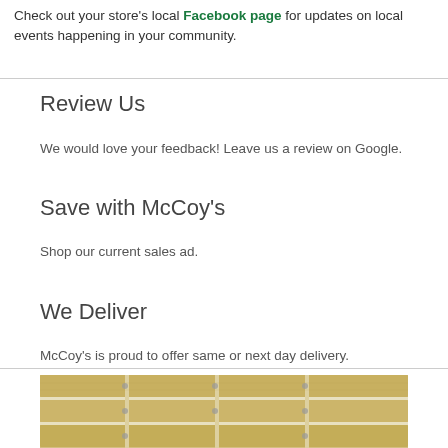Check out your store's local Facebook page for updates on local events happening in your community.
Review Us
We would love your feedback! Leave us a review on Google.
Save with McCoy's
Shop our current sales ad.
We Deliver
McCoy's is proud to offer same or next day delivery.
[Figure (photo): Photo of lumber/wood framing structure viewed from above, showing parallel wooden beams in a grid pattern.]